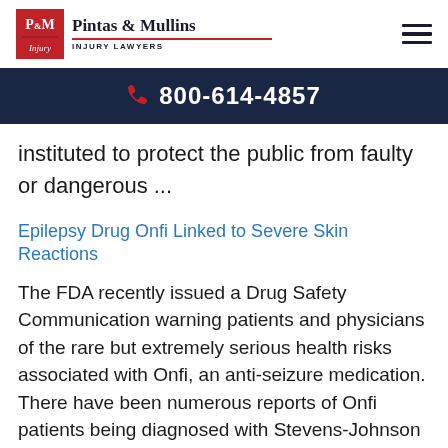[Figure (logo): Pintas & Mullins Injury Lawyers logo with red P&M shield and company name]
☎ 800-614-4857
instituted to protect the public from faulty or dangerous ...
Epilepsy Drug Onfi Linked to Severe Skin Reactions
The FDA recently issued a Drug Safety Communication warning patients and physicians of the rare but extremely serious health risks associated with Onfi, an anti-seizure medication. There have been numerous reports of Onfi patients being diagnosed with Stevens-Johnson Syndrome